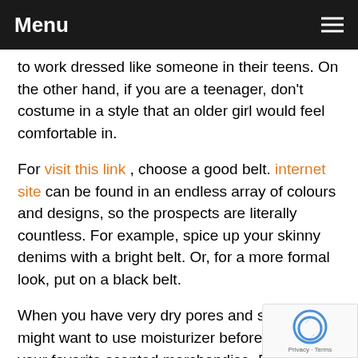Menu
to work dressed like someone in their teens. On the other hand, if you are a teenager, don't costume in a style that an older girl would feel comfortable in.
For visit this link , choose a good belt. internet site can be found in an endless array of colours and designs, so the prospects are literally countless. For example, spice up your skinny denims with a bright belt. Or, for a more formal look, put on a black belt.
When you have very dry pores and skin, you might want to use moisturizer before utilizing your favorite scented merchandise. Doing this may assist the cologne or perfume keep long your body. It'll work best if you use an unscented moist the smells do not compete or create a new, unexpected scent.